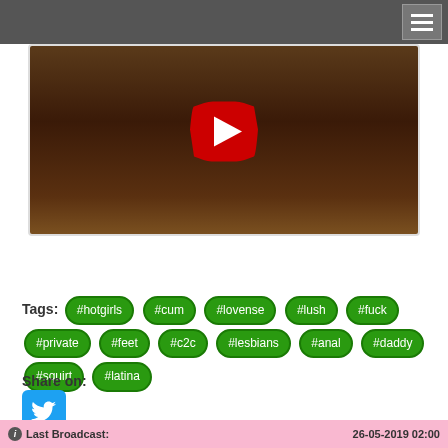[Figure (photo): Video thumbnail of a person with a play button overlay]
Download Now
Tags: #hotgirls #cum #lovense #lush #fuck #private #feet #c2c #lesbians #anal #daddy #squirt #latina
Share on:
[Figure (logo): Twitter share button]
Last Broadcast: 26-05-2019 02:00